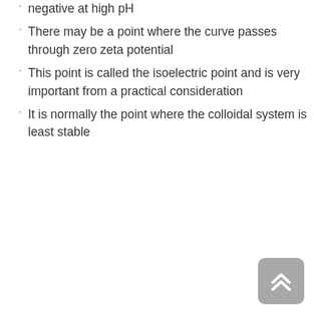negative at high pH
There may be a point where the curve passes through zero zeta potential
This point is called the isoelectric point and is very important from a practical consideration
It is normally the point where the colloidal system is least stable